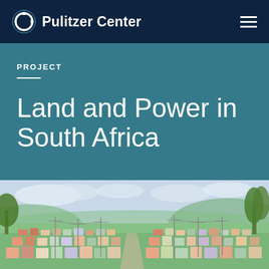Pulitzer Center
PROJECT
Land and Power in South Africa
[Figure (photo): Aerial/wide view of a South African township settlement with many small colorful houses spread across green rolling hills, with power lines and trees visible in the background under a partly cloudy sky.]